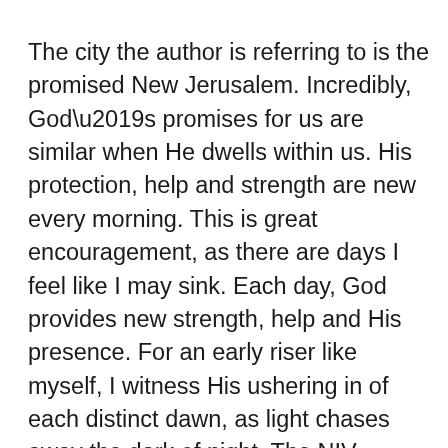The city the author is referring to is the promised New Jerusalem. Incredibly, God’s promises for us are similar when He dwells within us. His protection, help and strength are new every morning. This is great encouragement, as there are days I feel like I may sink. Each day, God provides new strength, help and His presence. For an early riser like myself, I witness His ushering in of each distinct dawn, as light chases away the dark of night. The NIV translation feels like personal encouragement. Though the verse is in reference to the city of God, His promises are for His people. All who